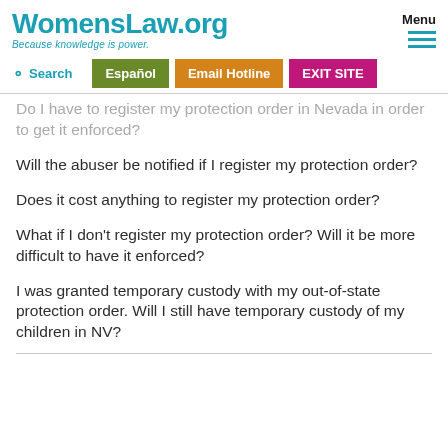WomensLaw.org — Because knowledge is power.
Do I have to register my protection order in Nevada in order to get it enforced?
Will the abuser be notified if I register my protection order?
Does it cost anything to register my protection order?
What if I don't register my protection order? Will it be more difficult to have it enforced?
I was granted temporary custody with my out-of-state protection order. Will I still have temporary custody of my children in NV?